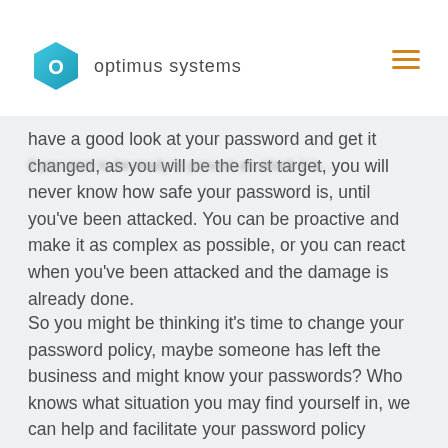optimus systems
have a good look at your password and get it changed, as you will be the first target, you will never know how safe your password is, until you've been attacked. You can be proactive and make it as complex as possible, or you can react when you've been attacked and the damage is already done.
So you might be thinking it's time to change your password policy, maybe someone has left the business and might know your passwords? Who knows what situation you may find yourself in, we can help and facilitate your password policy changes